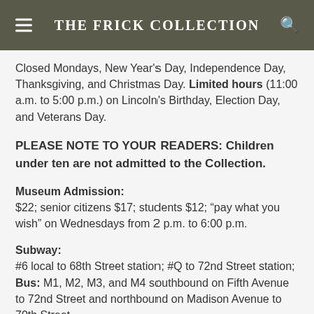THE FRICK COLLECTION
Closed Mondays, New Year's Day, Independence Day, Thanksgiving, and Christmas Day. Limited hours (11:00 a.m. to 5:00 p.m.) on Lincoln's Birthday, Election Day, and Veterans Day.
PLEASE NOTE TO YOUR READERS: Children under ten are not admitted to the Collection.
Museum Admission:
$22; senior citizens $17; students $12; “pay what you wish” on Wednesdays from 2 p.m. to 6:00 p.m.
Subway:
#6 local to 68th Street station; #Q to 72nd Street station; Bus: M1, M2, M3, and M4 southbound on Fifth Avenue to 72nd Street and northbound on Madison Avenue to 70th Street.